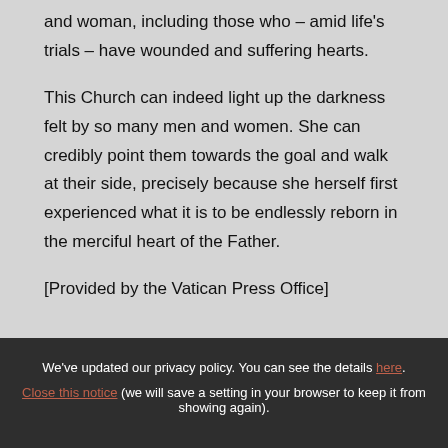and woman, including those who – amid life's trials – have wounded and suffering hearts.

This Church can indeed light up the darkness felt by so many men and women. She can credibly point them towards the goal and walk at their side, precisely because she herself first experienced what it is to be endlessly reborn in the merciful heart of the Father.

[Provided by the Vatican Press Office]
We've updated our privacy policy. You can see the details here. Close this notice (we will save a setting in your browser to keep it from showing again).